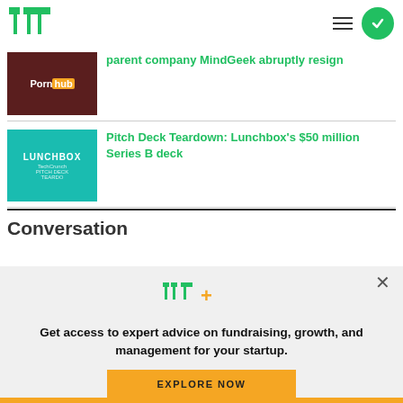TechCrunch
[Figure (screenshot): Pornhub logo thumbnail - dark red background with Pornhub text]
parent company MindGeek abruptly resign
[Figure (screenshot): Lunchbox pitch deck teardown thumbnail - teal background with Lunchbox text and cartoon food art]
Pitch Deck Teardown: Lunchbox's $50 million Series B deck
Conversation
[Figure (logo): TC+ logo - green TechCrunch TC logo with plus sign in yellow/orange]
Get access to expert advice on fundraising, growth, and management for your startup.
EXPLORE NOW